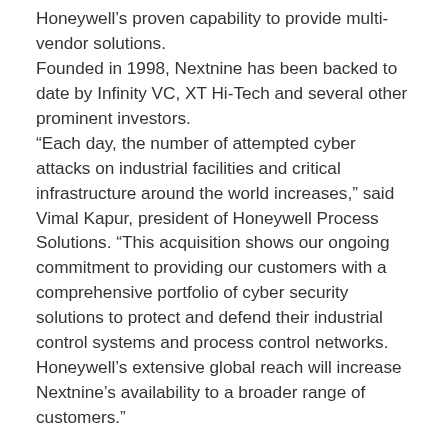Honeywell's proven capability to provide multi-vendor solutions. Founded in 1998, Nextnine has been backed to date by Infinity VC, XT Hi-Tech and several other prominent investors. “Each day, the number of attempted cyber attacks on industrial facilities and critical infrastructure around the world increases,” said Vimal Kapur, president of Honeywell Process Solutions. “This acquisition shows our ongoing commitment to providing our customers with a comprehensive portfolio of cyber security solutions to protect and defend their industrial control systems and process control networks. Honeywell’s extensive global reach will increase Nextnine’s availability to a broader range of customers.”